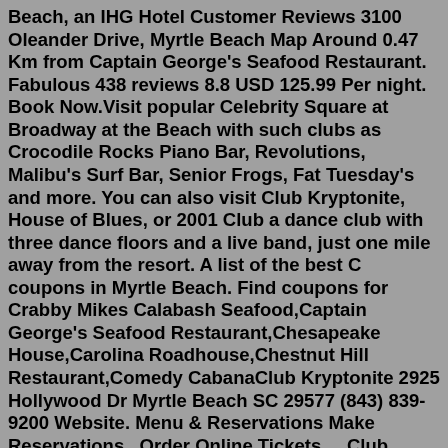Beach, an IHG Hotel Customer Reviews 3100 Oleander Drive, Myrtle Beach Map Around 0.47 Km from Captain George's Seafood Restaurant. Fabulous 438 reviews 8.8 USD 125.99 Per night. Book Now.Visit popular Celebrity Square at Broadway at the Beach with such clubs as Crocodile Rocks Piano Bar, Revolutions, Malibu's Surf Bar, Senior Frogs, Fat Tuesday's and more. You can also visit Club Kryptonite, House of Blues, or 2001 Club a dance club with three dance floors and a live band, just one mile away from the resort. A list of the best C coupons in Myrtle Beach. Find coupons for Crabby Mikes Calabash Seafood,Captain George's Seafood Restaurant,Chesapeake House,Carolina Roadhouse,Chestnut Hill Restaurant,Comedy CabanaClub Kryptonite 2925 Hollywood Dr Myrtle Beach SC 29577 (843) 839-9200 Website. Menu & Reservations Make Reservations . Order Online Tickets ... Club Kryptonite - 2925 Hollywood Dr, Myrtle Beach, South Carolina (SC) 29577 - Club Kryptonite Review Club Kryptonite Come on Club...